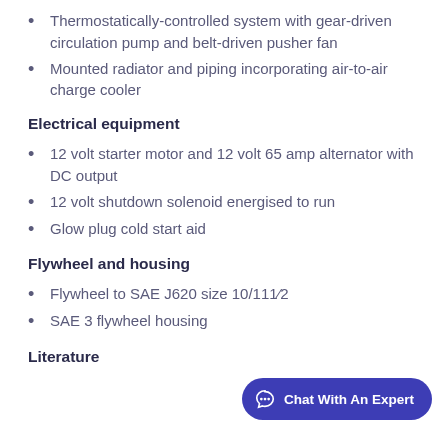Thermostatically-controlled system with gear-driven circulation pump and belt-driven pusher fan
Mounted radiator and piping incorporating air-to-air charge cooler
Electrical equipment
12 volt starter motor and 12 volt 65 amp alternator with DC output
12 volt shutdown solenoid energised to run
Glow plug cold start aid
Flywheel and housing
Flywheel to SAE J620 size 10/111⁄2
SAE 3 flywheel housing
Literature